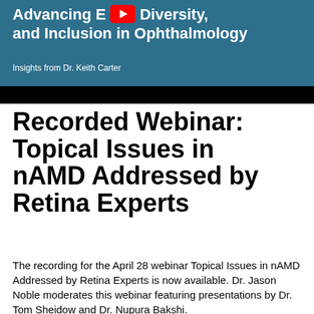[Figure (illustration): Banner image with teal/blue background showing title text 'Advancing Equity, Diversity, and Inclusion in Ophthalmology' with a YouTube play button icon, subtitle 'Insights from Dr. Keith Carter', and a black bar at the bottom.]
Recorded Webinar: Topical Issues in nAMD Addressed by Retina Experts
The recording for the April 28 webinar Topical Issues in nAMD Addressed by Retina Experts is now available. Dr. Jason Noble moderates this webinar featuring presentations by Dr. Tom Sheidow and Dr. Nupura Bakshi.